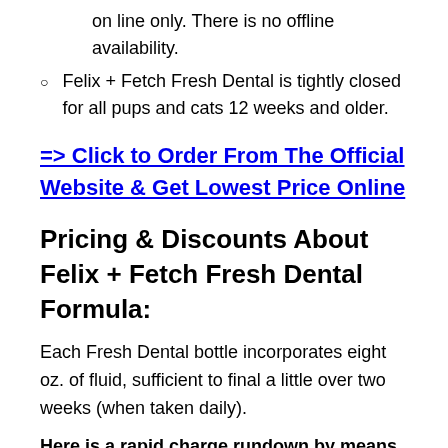on line only. There is no offline availability.
Felix + Fetch Fresh Dental is tightly closed for all pups and cats 12 weeks and older.
=> Click to Order From The Official Website & Get Lowest Price Online
Pricing & Discounts About Felix + Fetch Fresh Dental Formula:
Each Fresh Dental bottle incorporates eight oz. of fluid, sufficient to final a little over two weeks (when taken daily).
Here is a rapid charge rundown by means of portions ordered for one-time and subscription